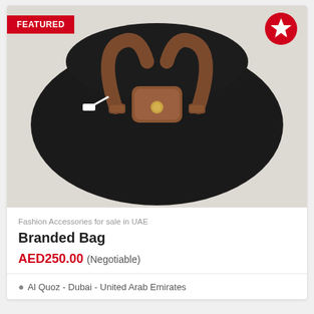[Figure (photo): A black nylon handbag (Longchamp style) with brown leather handles and clasp, photographed from above on a light beige surface. A white tag/string is visible through one of the handles.]
Fashion Accessories for sale in UAE
Branded Bag
AED250.00 (Negotiable)
Al Quoz - Dubai - United Arab Emirates